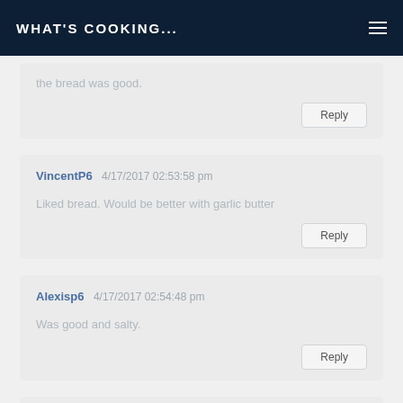WHAT'S COOKING...
the bread was good.
Reply
VincentP6  4/17/2017 02:53:58 pm
Liked bread. Would be better with garlic butter
Reply
Alexisp6  4/17/2017 02:54:48 pm
Was good and salty.
Reply